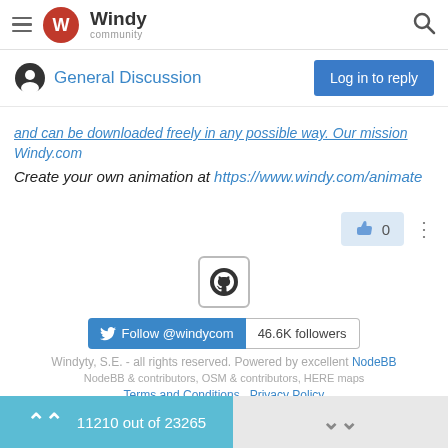Windy community
General Discussion
and can be downloaded freely in any possible way. Our mission Windy.com
Create your own animation at https://www.windy.com/animate
[Figure (logo): GitHub logo in a bordered box]
Follow @windycom  46.6K followers
Windyty, S.E. - all rights reserved. Powered by excellent NodeBB
NodeBB & contributors, OSM & contributors, HERE maps
Terms and Conditions  Privacy Policy
11210 out of 23265